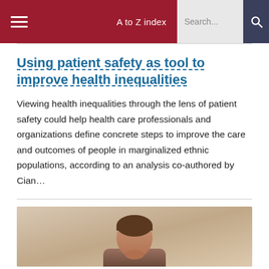A to Z index  Search...
Using patient safety as tool to improve health inequalities
Viewing health inequalities through the lens of patient safety could help health care professionals and organizations define concrete steps to improve the care and outcomes of people in marginalized ethnic populations, according to an analysis co-authored by Cian…
[Figure (photo): Portrait photo of a person, partially visible, taken indoors with warm blurred background]